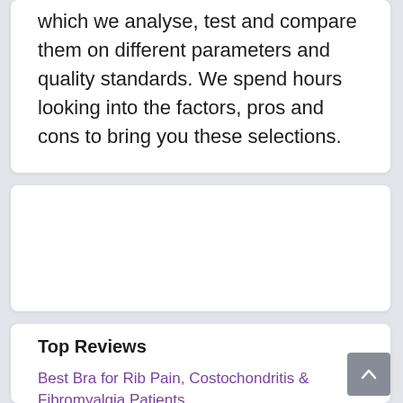which we analyse, test and compare them on different parameters and quality standards. We spend hours looking into the factors, pros and cons to bring you these selections.
[Figure (other): Empty white card / advertisement placeholder]
Top Reviews
Best Bra for Rib Pain, Costochondritis & Fibromyalgia Patients
10 Bra That Pushes Breasts Together – Lingerie Expert Picks